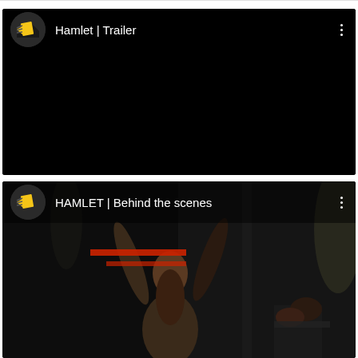[Figure (screenshot): Video card for 'Hamlet | Trailer' with black thumbnail area, channel icon (dark circle with yellow/orange book logo), white title text, and three-dot menu icon on dark background]
[Figure (screenshot): Video card for 'HAMLET | Behind the scenes' with theatrical performance thumbnail showing a performer with arms raised, red lighting element, channel icon (dark circle with yellow/orange book logo), white title text, and three-dot menu icon]